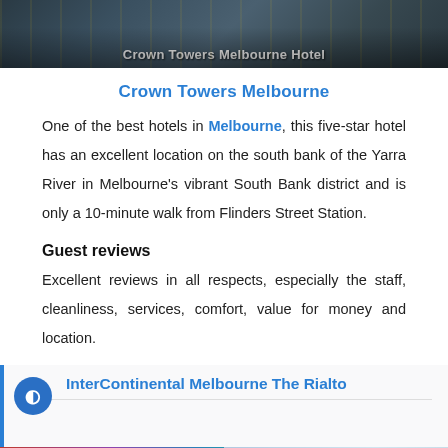[Figure (photo): Crown Towers Melbourne Hotel photo banner with dark toned building/water image and white bold text caption]
Crown Towers Melbourne
One of the best hotels in Melbourne, this five-star hotel has an excellent location on the south bank of the Yarra River in Melbourne's vibrant South Bank district and is only a 10-minute walk from Flinders Street Station.
Guest reviews
Excellent reviews in all respects, especially the staff, cleanliness, services, comfort, value for money and location.
[Figure (screenshot): Partially visible next hotel section: InterContinental Melbourne The Rialto with blue cookie/GDPR consent icon overlay]
[Figure (photo): Bottom strip showing two hotel images side by side - left with colorful facade, right with blue glass building; holidaysatw.com watermark]